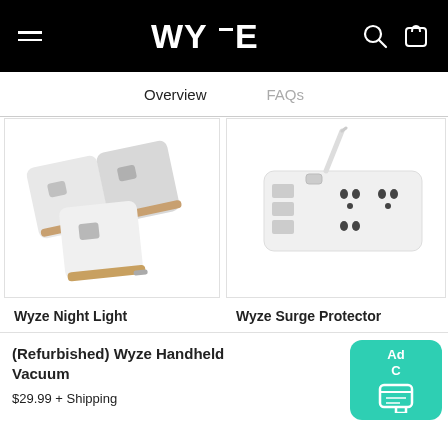WYZE (navigation header with hamburger menu, search, and cart icons)
Overview  FAQs
[Figure (photo): Three Wyze Night Light devices (small square white devices with amber edge lighting) arranged overlapping on a white background]
[Figure (photo): Wyze Surge Protector (white power strip with USB ports and multiple outlets) on a white background]
Wyze Night Light
Wyze Surge Protector
(Refurbished) Wyze Handheld Vacuum
$29.99 + Shipping